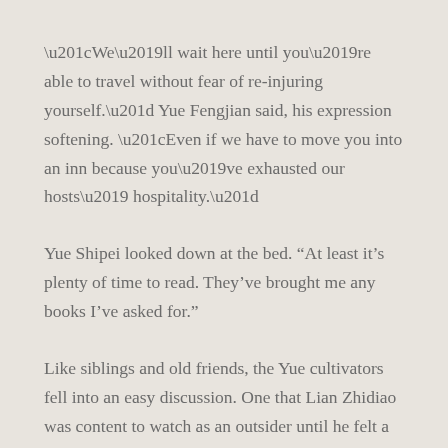“We’ll wait here until you’re able to travel without fear of re-injuring yourself.” Yue Fengjian said, his expression softening. “Even if we have to move you into an inn because you’ve exhausted our hosts’ hospitality.”
Yue Shipei looked down at the bed. “At least it’s plenty of time to read. They’ve brought me any books I’ve asked for.”
Like siblings and old friends, the Yue cultivators fell into an easy discussion. One that Lian Zhidiao was content to watch as an outsider until he felt a touch at his sleeve.